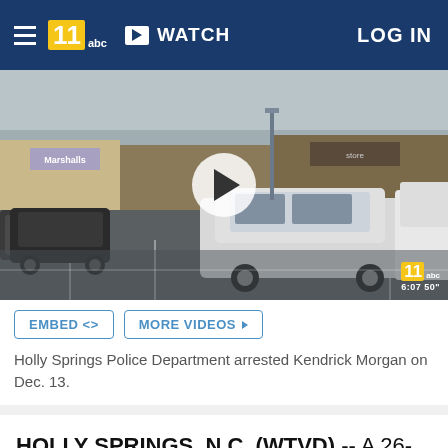WATCH | LOG IN
[Figure (screenshot): Video thumbnail showing a rainy parking lot scene with cars and shopping center stores including Marshalls. A white circular play button overlay is in the center. WTVD 11 ABC watermark and timestamp 6:07 50 visible in bottom right.]
Holly Springs Police Department arrested Kendrick Morgan on Dec. 13.
HOLLY SPRINGS, N.C. (WTVD) -- A 26-year-old is behind bars accused of exposing himself in the parking lot of a Holly Springs shopping center.